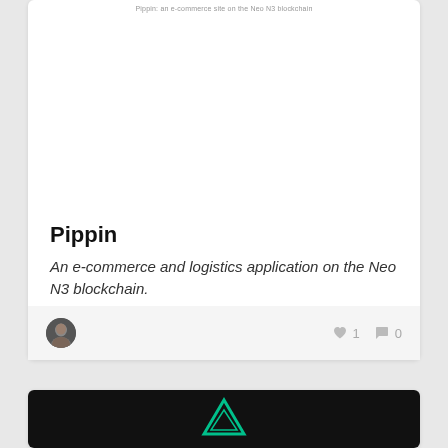Pippin: an e-commerce site on the Neo N3 blockchain
[Figure (screenshot): White card image area for Pippin project]
Pippin
An e-commerce and logistics application on the Neo N3 blockchain.
[Figure (photo): User avatar (dark silhouette portrait)]
1
0
[Figure (screenshot): Second card showing dark background with green Neo logo/triangle icon]